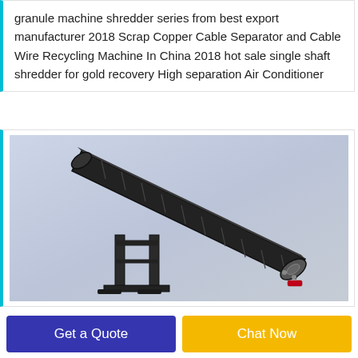granule machine shredder series from best export manufacturer 2018 Scrap Copper Cable Separator and Cable Wire Recycling Machine In China 2018 hot sale single shaft shredder for gold recovery High separation Air Conditioner
[Figure (photo): 3D rendering of an inclined conveyor belt machine with a dark metal frame, shown at an angle against a light grey gradient background.]
Get a Quote
Chat Now